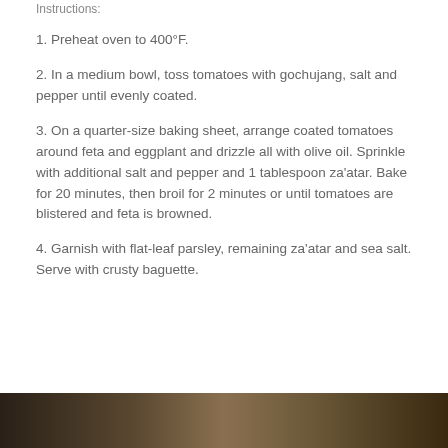Instructions:
1. Preheat oven to 400°F.
2. In a medium bowl, toss tomatoes with gochujang, salt and pepper until evenly coated.
3. On a quarter-size baking sheet, arrange coated tomatoes around feta and eggplant and drizzle all with olive oil. Sprinkle with additional salt and pepper and 1 tablespoon za'atar. Bake for 20 minutes, then broil for 2 minutes or until tomatoes are blistered and feta is browned.
4. Garnish with flat-leaf parsley, remaining za'atar and sea salt. Serve with crusty baguette.
[Figure (photo): Partial view of a food photograph at the bottom of the page, showing a dark baking dish with roasted ingredients.]